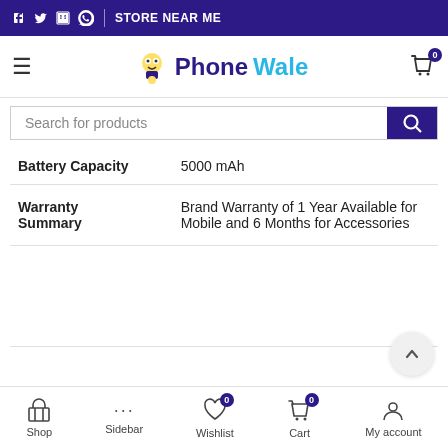f  Twitter  in  WhatsApp  |  STORE NEAR ME
[Figure (logo): PhoneWale logo with mascot character, navy blue and cyan text]
Search for products
| Battery Capacity | 5000 mAh |
| Warranty Summary | Brand Warranty of 1 Year Available for Mobile and 6 Months for Accessories |
Shop  Sidebar  Wishlist (0)  Cart (0)  My account